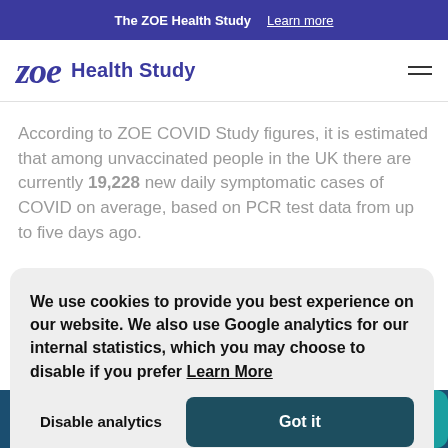The ZOE Health Study  Learn more
[Figure (logo): ZOE Health Study logo with italic bold 'zoe' text and 'Health Study' label]
According to ZOE COVID Study figures, it is estimated that among unvaccinated people in the UK there are currently 19,228 new daily symptomatic cases of COVID on average, based on PCR test data from up to five days ago.
We use cookies to provide you best experience on our website. We also use Google analytics for our internal statistics, which you may choose to disable if you prefer  Learn More
Disable analytics    Got it
[Figure (photo): Partial view of people smiling, bottom of page]